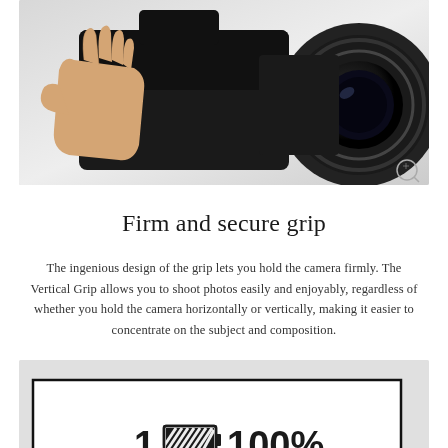[Figure (photo): A hand holding a Sony camera with a large lens from a low angle against a light grey background]
Firm and secure grip
The ingenious design of the grip lets you hold the camera firmly. The Vertical Grip allows you to shoot photos easily and enjoyably, regardless of whether you hold the camera horizontally or vertically, making it easier to concentrate on the subject and composition.
[Figure (screenshot): Camera LCD display showing battery status: 1 (full battery icon) 100%  2 (half battery icon)]